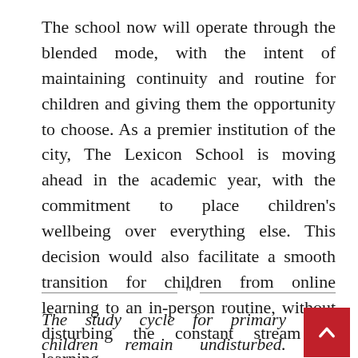The school now will operate through the blended mode, with the intent of maintaining continuity and routine for children and giving them the opportunity to choose. As a premier institution of the city, The Lexicon School is moving ahead in the academic year, with the commitment to place children's wellbeing over everything else. This decision would also facilitate a smooth transition for children from online learning to an in-person routine, without disturbing the constant stream of learning.
The study cycle for primary children remain undisturbed. Meanwhile, sanitization, and health protocols will be